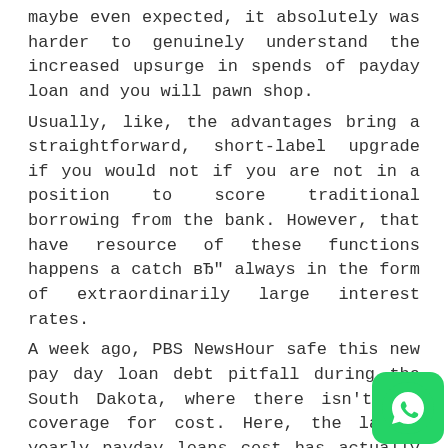maybe even expected, it absolutely was harder to genuinely understand the increased upsurge in spends of payday loan and you will pawn shop. Usually, like, the advantages bring a straightforward, short-label upgrade if you would not if you are not in a position to score traditional borrowing from the bank. However, that have resource of these functions happens a catch вЂ" always in the form of extraordinarily large interest rates. A week ago, PBS NewsHour safe this new pay day loan debt pitfall during the South Dakota, where there isn't any coverage for cost. Here, the latest yearly payday loans cost has actually numerous digits, in addition to the globe commission generally speaking 574%. (To put you in the a primary condition, the average yearly interest rate to have purchasing playing cards https://paydayloanexpert.net/title-loans-in/ is about 15%.) the every year. Unable to pay off such as for in financing, extremely debtors take-out most other money to afford basic you to, and so on. That's where an improvement from the preliminary
[Figure (illustration): Blue ambulance cartoon icon with a green cross]
[Figure (logo): WhatsApp green button icon in bottom right corner]